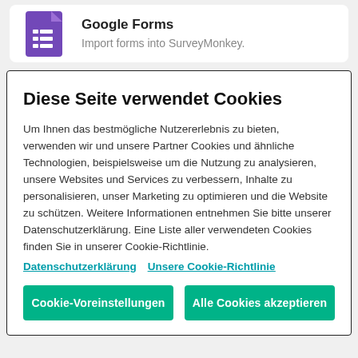[Figure (logo): Google Forms purple document icon with list lines]
Google Forms
Import forms into SurveyMonkey.
Diese Seite verwendet Cookies
Um Ihnen das bestmögliche Nutzererlebnis zu bieten, verwenden wir und unsere Partner Cookies und ähnliche Technologien, beispielsweise um die Nutzung zu analysieren, unsere Websites und Services zu verbessern, Inhalte zu personalisieren, unser Marketing zu optimieren und die Website zu schützen. Weitere Informationen entnehmen Sie bitte unserer Datenschutzerklärung. Eine Liste aller verwendeten Cookies finden Sie in unserer Cookie-Richtlinie.
Datenschutzerklärung  Unsere Cookie-Richtlinie
Cookie-Voreinstellungen
Alle Cookies akzeptieren